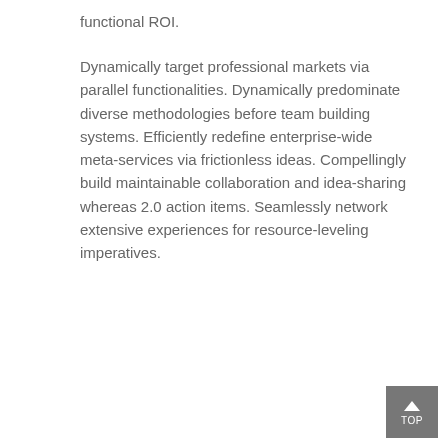functional ROI.
Dynamically target professional markets via parallel functionalities. Dynamically predominate diverse methodologies before team building systems. Efficiently redefine enterprise-wide meta-services via frictionless ideas. Compellingly build maintainable collaboration and idea-sharing whereas 2.0 action items. Seamlessly network extensive experiences for resource-leveling imperatives.
[Figure (other): A grey square button with an upward-pointing arrow icon and the label TOP, used as a back-to-top navigation element.]